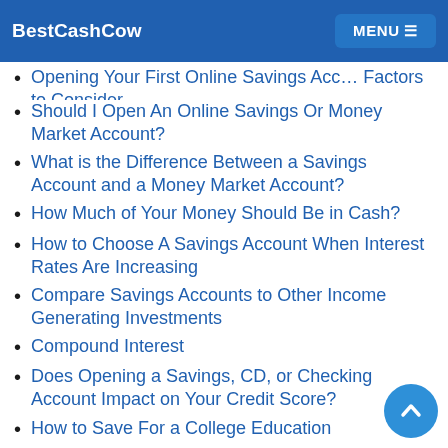BestCashCow  MENU
Opening Your First Online Savings Account: Factors to Consider
Should I Open An Online Savings Or Money Market Account?
What is the Difference Between a Savings Account and a Money Market Account?
How Much of Your Money Should Be in Cash?
How to Choose A Savings Account When Interest Rates Are Increasing
Compare Savings Accounts to Other Income Generating Investments
Compound Interest
Does Opening a Savings, CD, or Checking Account Impact on Your Credit Score?
How to Save For a College Education
Advantages And Disadvantages of Custodial Savings Accounts
Managing Your Finances After Divorce